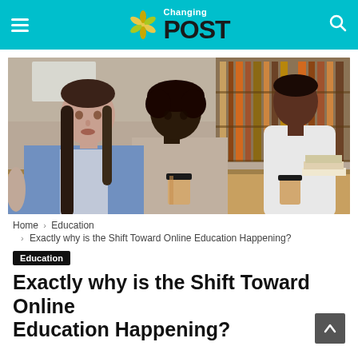Changing POST
[Figure (photo): Three students sitting at a library table studying together; two women in the foreground and a man in the background, with coffee cups and books on the table.]
Home > Education > Exactly why is the Shift Toward Online Education Happening?
Education
Exactly why is the Shift Toward Online Education Happening?